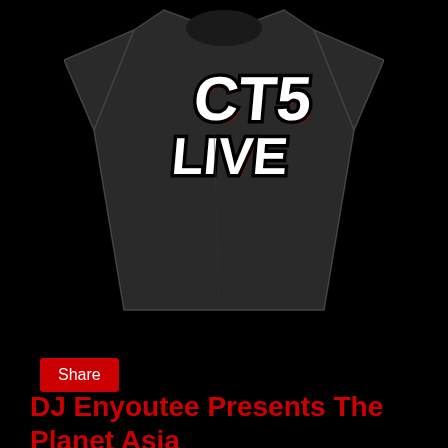[Figure (photo): Black t-shirt with a stylized 'CT5 LIVE' logo in white and red graffiti-style lettering on the chest, displayed on a dark background.]
Share
DJ Enyoutee Presents The Planet Asia and Milano Constantine EP